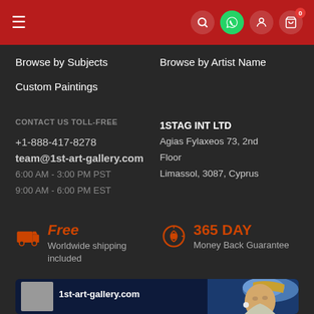Navigation bar with hamburger menu, search, WhatsApp, user, and cart icons
Browse by Subjects
Custom Paintings
Browse by Artist Name
CONTACT US TOLL-FREE
+1-888-417-8278
team@1st-art-gallery.com
6:00 AM - 3:00 PM PST
9:00 AM - 6:00 PM EST
1STAG INT LTD
Agias Fylaxeos 73, 2nd Floor
Limassol, 3087, Cyprus
Free
Worldwide shipping included
365 DAY
Money Back Guarantee
[Figure (screenshot): Bottom card showing 1st-art-gallery.com logo text, small grey placeholder image, and Vermeer Girl with a Pearl Earring painting thumbnail]